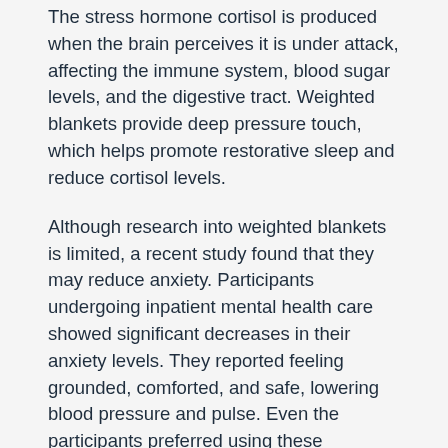The stress hormone cortisol is produced when the brain perceives it is under attack, affecting the immune system, blood sugar levels, and the digestive tract. Weighted blankets provide deep pressure touch, which helps promote restorative sleep and reduce cortisol levels.
Although research into weighted blankets is limited, a recent study found that they may reduce anxiety. Participants undergoing inpatient mental health care showed significant decreases in their anxiety levels. They reported feeling grounded, comforted, and safe, lowering blood pressure and pulse. Even the participants preferred using these blankets. Even mild anxiety disorders can benefit from using weighted blankets to calm down.
It helps with insomnia.